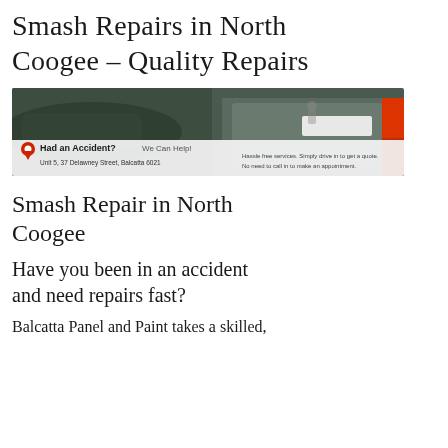Smash Repairs in North Coogee – Quality Repairs
[Figure (photo): Advertisement banner for Balcatta Panel and Paint smash repair service. Shows damaged cars in background. Text overlay: 'Had an Accident? We Can Help! Unit 5, 37 Delawney Street, Balcatta 6021. Hassle free services. Simply drive in to get a quote. No need to call in to make an appointment.']
Smash Repair in North Coogee
Have you been in an accident and need repairs fast?
Balcatta Panel and Paint takes a skilled,